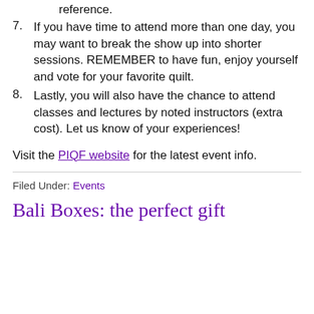...item number, item and price for later reference.
7. If you have time to attend more than one day, you may want to break the show up into shorter sessions. REMEMBER to have fun, enjoy yourself and vote for your favorite quilt.
8. Lastly, you will also have the chance to attend classes and lectures by noted instructors (extra cost). Let us know of your experiences!
Visit the PIQF website for the latest event info.
Filed Under: Events
Bali Boxes: the perfect gift